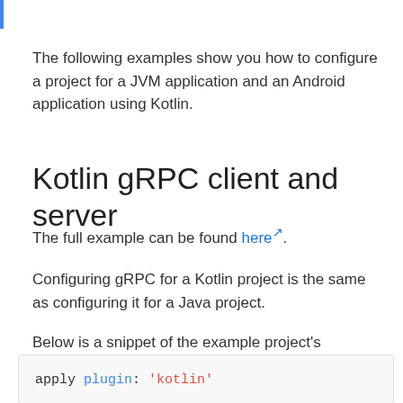The following examples show you how to configure a project for a JVM application and an Android application using Kotlin.
Kotlin gRPC client and server
The full example can be found here.
Configuring gRPC for a Kotlin project is the same as configuring it for a Java project.
Below is a snippet of the example project's build.gradle highlighting some Kotlin related sections:
apply plugin: 'kotlin'